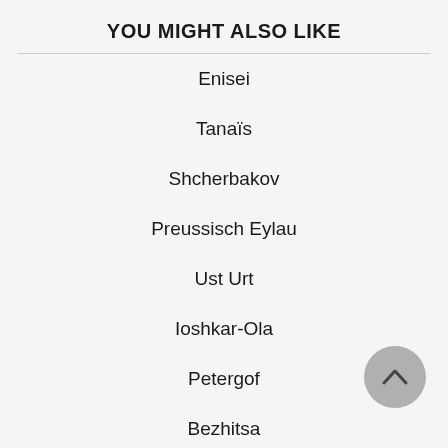YOU MIGHT ALSO LIKE
Enisei
Tanaïs
Shcherbakov
Preussisch Eylau
Ust Urt
Ioshkar-Ola
Petergof
Bezhitsa